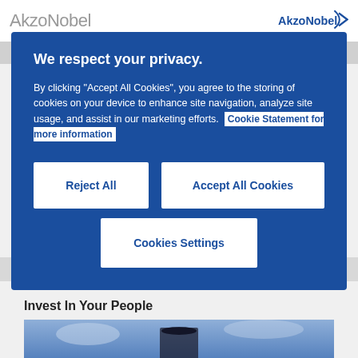AkzoNobel
We respect your privacy.
By clicking “Accept All Cookies”, you agree to the storing of cookies on your device to enhance site navigation, analyze site usage, and assist in our marketing efforts.  Cookie Statement for more information
Reject All
Accept All Cookies
Cookies Settings
Invest in Your Tool Box
Sign In
Invest In Your People
[Figure (photo): Photo of a person holding a graduation cap against a cloudy sky background]